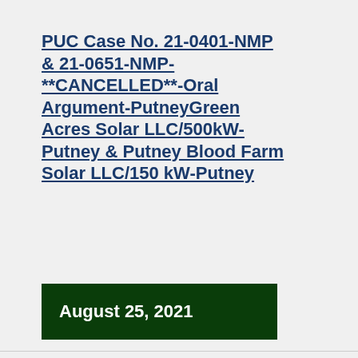PUC Case No. 21-0401-NMP & 21-0651-NMP-**CANCELLED**-Oral Argument-PutneyGreen Acres Solar LLC/500kW-Putney & Putney Blood Farm Solar LLC/150 kW-Putney
August 25, 2021